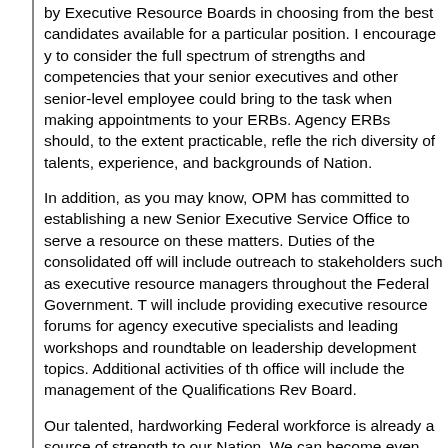by Executive Resource Boards in choosing from the best candidates available for a particular position.  I encourage you to consider the full spectrum of strengths and competencies that your senior executives and other senior-level employees could bring to the task when making appointments to your ERBs.  Agency ERBs should, to the extent practicable, reflect the rich diversity of talents, experience, and backgrounds of the Nation.
In addition, as you may know, OPM has committed to establishing a new Senior Executive Service Office to serve as a resource on these matters.  Duties of the consolidated office will include outreach to stakeholders such as executive resource managers throughout the Federal Government.  They will include providing executive resource forums for agency executive specialists and leading workshops and roundtables on leadership development topics. Additional activities of the office will include the management of the Qualifications Review Board.
Our talented, hardworking Federal workforce is already a source of strength to our Nation.  We can become even stronger by ensuring the senior levels of our Government reflect what has made us great – our diversity.